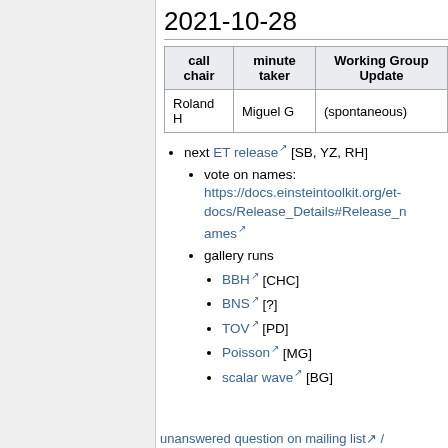2021-10-28
| call chair | minute taker | Working Group Update |
| --- | --- | --- |
| Roland H | Miguel G | (spontaneous) |
next ET release [SB, YZ, RH]
vote on names: https://docs.einsteintoolkit.org/et-docs/Release_Details#Release_names
gallery runs
BBH [CHC]
BNS [?]
TOV [PD]
Poisson [MG]
scalar wave [BG]
unanswered question on mailing list /